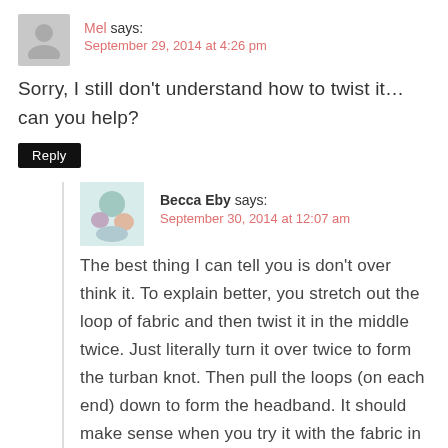Mel says: September 29, 2014 at 4:26 pm
Sorry, I still don't understand how to twist it… can you help?
Reply
Becca Eby says: September 30, 2014 at 12:07 am
The best thing I can tell you is don't over think it. To explain better, you stretch out the loop of fabric and then twist it in the middle twice. Just literally turn it over twice to form the turban knot. Then pull the loops (on each end) down to form the headband. It should make sense when you try it with the fabric in your hands.
Reply